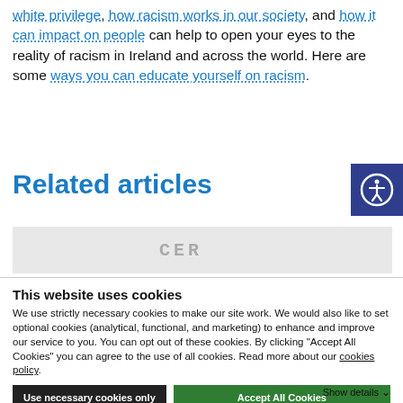white privilege, how racism works in our society, and how it can impact on people can help to open your eyes to the reality of racism in Ireland and across the world. Here are some ways you can educate yourself on racism.
Related articles
[Figure (photo): Partial image of a certificate document showing the letters 'CER' visible at the top]
This website uses cookies
We use strictly necessary cookies to make our site work. We would also like to set optional cookies (analytical, functional, and marketing) to enhance and improve our service to you. You can opt out of these cookies. By clicking "Accept All Cookies" you can agree to the use of all cookies. Read more about our cookies policy.
Use necessary cookies only | Accept All Cookies
Show details